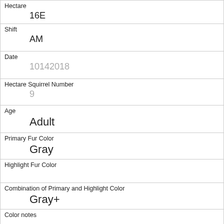| Hectare | 16E |
| Shift | AM |
| Date | 10142018 |
| Hectare Squirrel Number | 9 |
| Age | Adult |
| Primary Fur Color | Gray |
| Highlight Fur Color |  |
| Combination of Primary and Highlight Color | Gray+ |
| Color notes |  |
| Location | Above Ground |
| Above Ground Sighter Measurement |  |